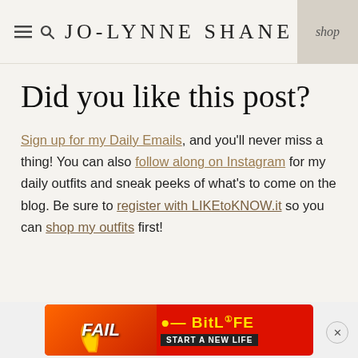JO-LYNNE SHANE
Did you like this post?
Sign up for my Daily Emails, and you'll never miss a thing! You can also follow along on Instagram for my daily outfits and sneak peeks of what's to come on the blog. Be sure to register with LIKEtoKNOW.it so you can shop my outfits first!
[Figure (infographic): BitLife advertisement banner with FAIL text, animated character, flames, and 'START A NEW LIFE' tagline]